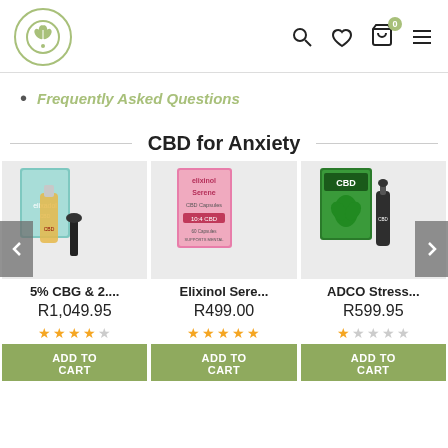[Figure (logo): Circular logo with plant/leaf icon and dot, olive green border]
Frequently Asked Questions
CBD for Anxiety
[Figure (photo): Product photo: 5% CBG & 2.... tincture bottle with dropper, teal box]
5% CBG & 2....
R1,049.95
[Figure (photo): Product photo: Elixinol Sere... pink CBD Capsules box]
Elixinol Sere...
R499.00
[Figure (photo): Product photo: ADCO Stress... green CBD oil bottle and box]
ADCO Stress...
R599.95